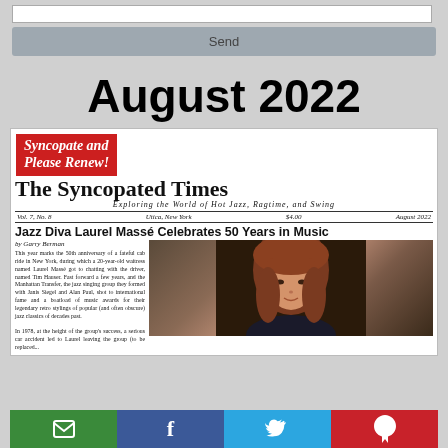[Figure (screenshot): Send button UI element with input field above and gray 'Send' button below]
August 2022
[Figure (screenshot): Front page of The Syncopated Times newspaper, August 2022, Vol. 7 No. 8, Utica New York, $4.00. Red banner: 'Syncopate and Please Renew!' Headline: 'Jazz Diva Laurel Massé Celebrates 50 Years in Music' by Garry Berman. Article text and photo of woman with red hair.]
[Figure (infographic): Social sharing bar with email (green), Facebook (blue), Twitter (light blue), Pinterest (red) icons]